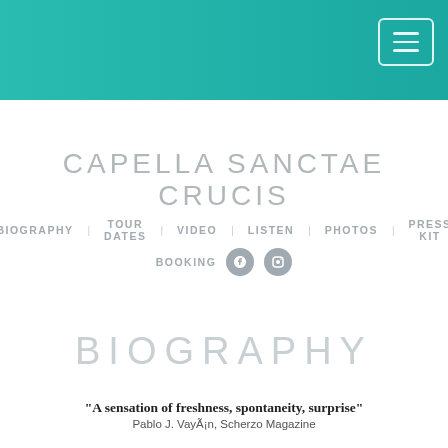[Figure (screenshot): Teal/green gradient header bar with hamburger menu button in top right corner]
CAPELLA SANCTAE CRUCIS
BIOGRAPHY  TOUR DATES  VIDEO  LISTEN  PHOTOS  PRESS KIT  BOOKING
BIOGRAPHY
"A sensation of freshness, spontaneity, surprise"
Pablo J. VayÃ¡n, Scherzo Magazine